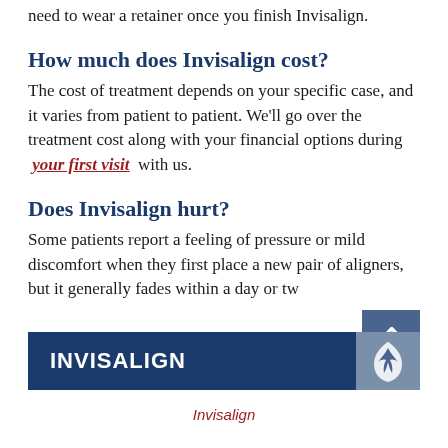need to wear a retainer once you finish Invisalign.
How much does Invisalign cost?
The cost of treatment depends on your specific case, and it varies from patient to patient. We'll go over the treatment cost along with your financial options during your first visit with us.
Does Invisalign hurt?
Some patients report a feeling of pressure or mild discomfort when they first place a new pair of aligners, but it generally fades within a day or two
[Figure (other): Dark blue banner with INVISALIGN text in white bold letters and a dove/leaf icon on the right side]
Invisalign